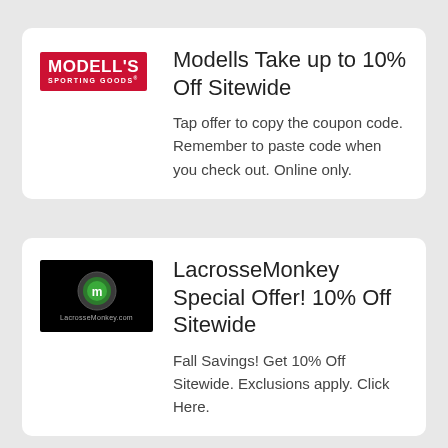[Figure (logo): Modell's Sporting Goods red logo with white text]
Modells Take up to 10% Off Sitewide
Tap offer to copy the coupon code. Remember to paste code when you check out. Online only.
[Figure (logo): LacrosseMonkey.com black logo with green circular icon]
LacrosseMonkey Special Offer! 10% Off Sitewide
Fall Savings! Get 10% Off Sitewide. Exclusions apply. Click Here.